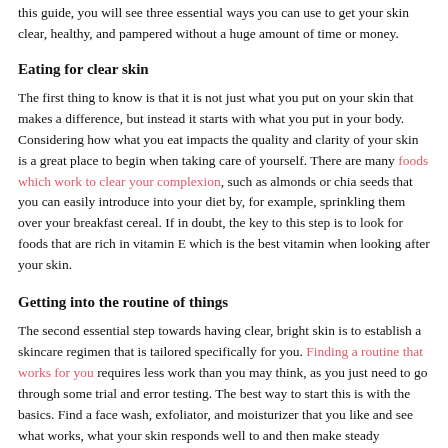this guide, you will see three essential ways you can use to get your skin clear, healthy, and pampered without a huge amount of time or money.
Eating for clear skin
The first thing to know is that it is not just what you put on your skin that makes a difference, but instead it starts with what you put in your body. Considering how what you eat impacts the quality and clarity of your skin is a great place to begin when taking care of yourself. There are many foods which work to clear your complexion, such as almonds or chia seeds that you can easily introduce into your diet by, for example, sprinkling them over your breakfast cereal. If in doubt, the key to this step is to look for foods that are rich in vitamin E which is the best vitamin when looking after your skin.
Getting into the routine of things
The second essential step towards having clear, bright skin is to establish a skincare regimen that is tailored specifically for you. Finding a routine that works for you requires less work than you may think, as you just need to go through some trial and error testing. The best way to start this is with the basics. Find a face wash, exfoliator, and moisturizer that you like and see what works, what your skin responds well to and then make steady improvements, adjustments and additions to this formula in order to achieve the best skin possible.